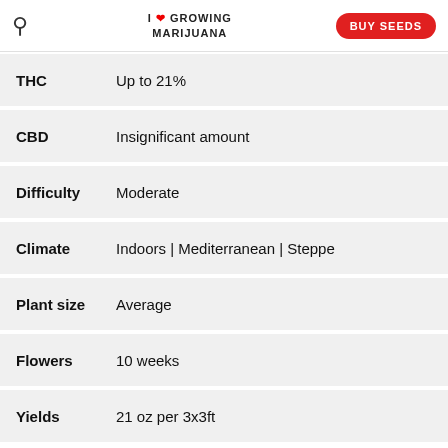I ❤ GROWING MARIJUANA | BUY SEEDS
| Property | Value |
| --- | --- |
| THC | Up to 21% |
| CBD | Insignificant amount |
| Difficulty | Moderate |
| Climate | Indoors | Mediterranean | Steppe |
| Plant size | Average |
| Flowers | 10 weeks |
| Yields | 21 oz per 3x3ft |